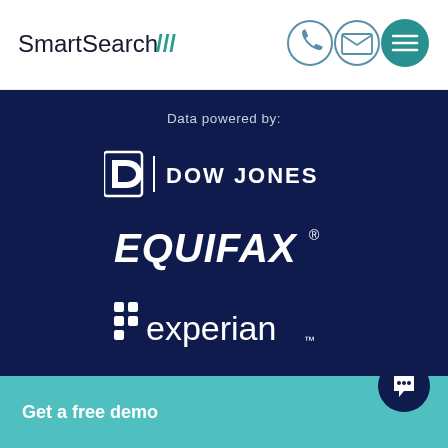[Figure (logo): SmartSearch logo with triple slash mark in teal]
[Figure (infographic): Navigation icons: phone, email (outline circles), and hamburger menu (teal filled circle)]
Data powered by:
[Figure (logo): Dow Jones logo: D icon with vertical bar and DOW JONES text in white on dark navy background]
[Figure (logo): EQUIFAX logo in bold italic white text with registered trademark symbol on dark navy background]
[Figure (logo): experian logo in white with dot-grid icon on dark navy background]
Get a free demo